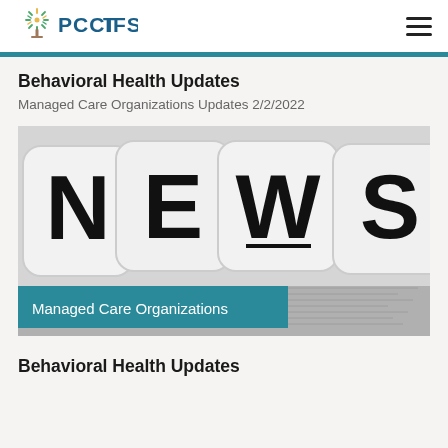[Figure (logo): PCCTFS organization logo with tree/sunburst icon]
Behavioral Health Updates
Managed Care Organizations Updates 2/2/2022
[Figure (photo): Black and white photo of dice spelling NEWS on newspaper, with teal overlay caption reading 'Managed Care Organizations']
Behavioral Health Updates